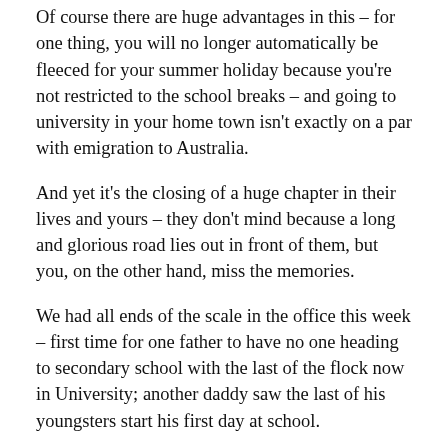Of course there are huge advantages in this – for one thing, you will no longer automatically be fleeced for your summer holiday because you're not restricted to the school breaks – and going to university in your home town isn't exactly on a par with emigration to Australia.
And yet it's the closing of a huge chapter in their lives and yours – they don't mind because a long and glorious road lies out in front of them, but you, on the other hand, miss the memories.
We had all ends of the scale in the office this week – first time for one father to have no one heading to secondary school with the last of the flock now in University; another daddy saw the last of his youngsters start his first day at school.
And for those at or near the other end, it still seems like only yesterday that they held you hand crossing the road